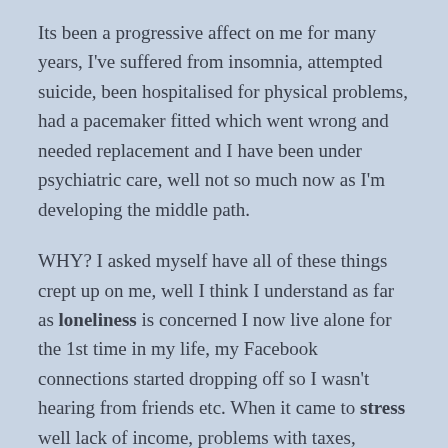Its been a progressive affect on me for many years, I've suffered from insomnia, attempted suicide, been hospitalised for physical problems, had a pacemaker fitted which went wrong and needed replacement and I have been under psychiatric care, well not so much now as I'm developing the middle path.
WHY? I asked myself have all of these things crept up on me, well I think I understand as far as loneliness is concerned I now live alone for the 1st time in my life, my Facebook connections started dropping off so I wasn't hearing from friends etc. When it came to stress well lack of income, problems with taxes, people scamming me stealing from me was severely affecting my sleep. The effects of a divorce plunged me into the